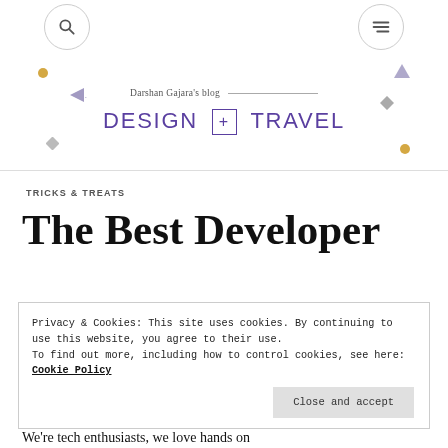Darshan Gajara's blog — DESIGN + TRAVEL
TRICKS & TREATS
The Best Developer
Privacy & Cookies: This site uses cookies. By continuing to use this website, you agree to their use.
To find out more, including how to control cookies, see here: Cookie Policy
Close and accept
We're tech enthusiasts, we love hands on